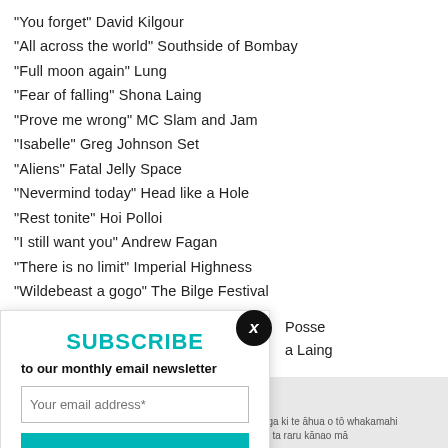“You forget” David Kilgour
“All across the world” Southside of Bombay
“Full moon again” Lung
“Fear of falling” Shona Laing
“Prove me wrong” MC Slam and Jam
“Isabelle” Greg Johnson Set
“Aliens” Fatal Jelly Space
“Nevermind today” Head like a Hole
“Rest tonite” Hoi Polloi
“I still want you” Andrew Fagan
“There is no limit” Imperial Highness
“Wildebeast a gogo” The Bilge Festival
“Son of a preacher man” Ngaire
“This too will pass” The Malchicks
…Posse
…a Laing
…thm Slave
…Johnson Set
SUBSCRIBE to our monthly email newsletter
View previous newsletters.
how you use our site, and make your experience
cy policy.
Whakamahia ai mātou ngā pihikete ki te rapu māramatanga ki te āhua o tō whakamahi ...